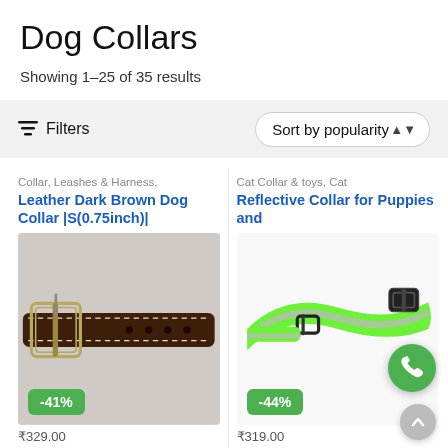Dog Collars
Showing 1–25 of 35 results
Filters   Sort by popularity
Collar, Leashes & Harness,
Leather Dark Brown Dog Collar |S(0.75inch)|
[Figure (photo): Leather dark brown dog collar with metal buckle, shown on grey background, with -41% discount badge]
₹329.00
Cat Collar & toys, Cat
Reflective Collar for Puppies and
[Figure (photo): Neon green reflective dog/cat collar with black plastic buckle, shown on white background, with -44% discount badge]
₹319.00